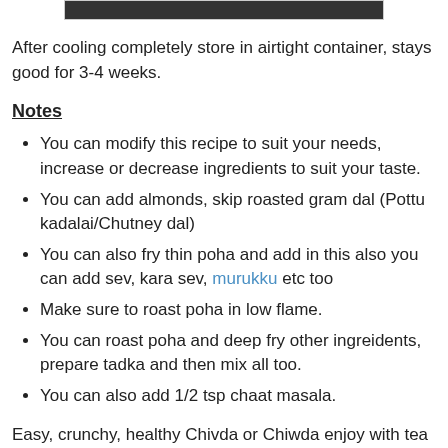[Figure (photo): Top portion of a food image, partially cropped]
After cooling completely store in airtight container, stays good for 3-4 weeks.
Notes
You can modify this recipe to suit your needs, increase or decrease ingredients to suit your taste.
You can add almonds, skip roasted gram dal (Pottu kadalai/Chutney dal)
You can also fry thin poha and add in this also you can add sev, kara sev, murukku etc too
Make sure to roast poha in low flame.
You can roast poha and deep fry other ingreidents, prepare tadka and then mix all too.
You can also add 1/2 tsp chaat masala.
Easy, crunchy, healthy Chivda or Chiwda enjoy with tea or